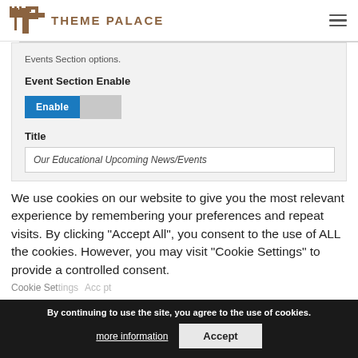THEME PALACE
Events Section options.
Event Section Enable
[Figure (screenshot): Enable/disable toggle button with blue Enable button active]
Title
Our Educational Upcoming News/Events
We use cookies on our website to give you the most relevant experience by remembering your preferences and repeat visits. By clicking “Accept All”, you consent to the use of ALL the cookies. However, you may visit "Cookie Settings" to provide a controlled consent.
By continuing to use the site, you agree to the use of cookies.
more information
Accept